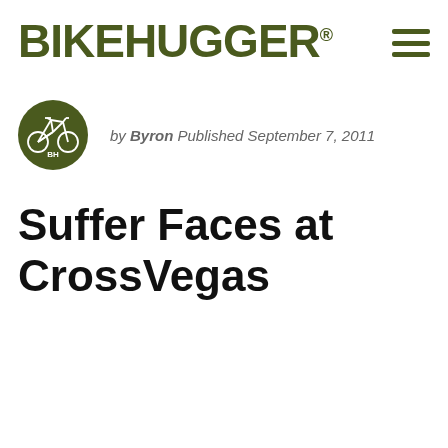BIKEHUGGER®
by Byron Published September 7, 2011
Suffer Faces at CrossVegas